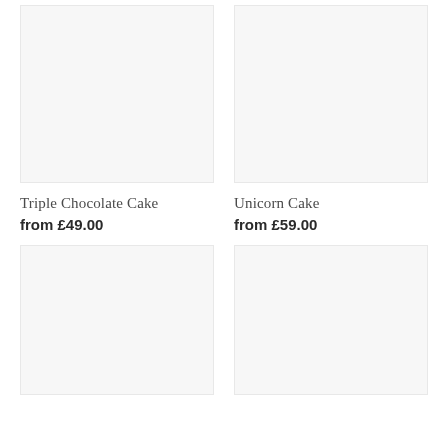[Figure (photo): Product image placeholder for Triple Chocolate Cake (light grey background)]
[Figure (photo): Product image placeholder for Unicorn Cake (light grey background)]
Triple Chocolate Cake
from £49.00
Unicorn Cake
from £59.00
[Figure (photo): Product image placeholder (bottom left, light grey background)]
[Figure (photo): Product image placeholder (bottom right, light grey background)]